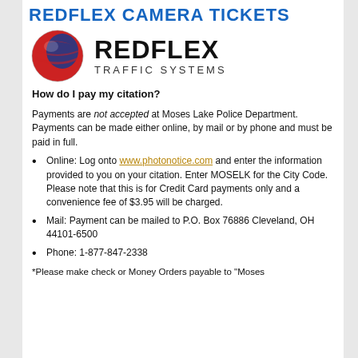REDFLEX CAMERA TICKETS
[Figure (logo): Redflex Traffic Systems logo: globe graphic in red and blue on left, bold REDFLEX text and TRAFFIC SYSTEMS subtitle on right]
How do I pay my citation?
Payments are not accepted at Moses Lake Police Department. Payments can be made either online, by mail or by phone and must be paid in full.
Online: Log onto www.photonotice.com and enter the information provided to you on your citation. Enter MOSELK for the City Code. Please note that this is for Credit Card payments only and a convenience fee of $3.95 will be charged.
Mail: Payment can be mailed to P.O. Box 76886 Cleveland, OH 44101-6500
Phone: 1-877-847-2338
*Please make check or Money Orders payable to "Moses